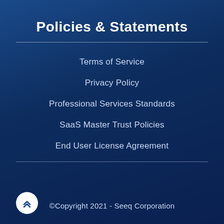Policies & Statements
Terms of Service
Privacy Policy
Professional Services Standards
SaaS Master Trust Policies
End User License Agreement
©Copyright 2021 - Seeq Corporation